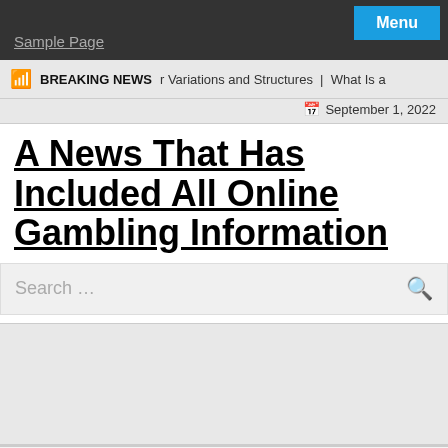Menu | Sample Page
BREAKING NEWS | r Variations and Structures | What Is a
September 1, 2022
A News That Has Included All Online Gambling Information
Search …
Uncategorized